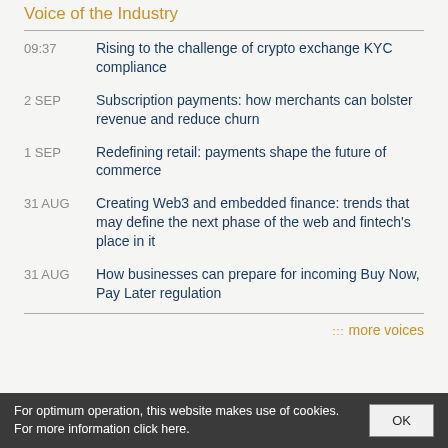Voice of the Industry
09:37 — Rising to the challenge of crypto exchange KYC compliance
2 SEP — Subscription payments: how merchants can bolster revenue and reduce churn
1 SEP — Redefining retail: payments shape the future of commerce
31 AUG — Creating Web3 and embedded finance: trends that may define the next phase of the web and fintech's place in it
31 AUG — How businesses can prepare for incoming Buy Now, Pay Later regulation
::: more voices
For optimum operation, this website makes use of cookies. For more information click here.